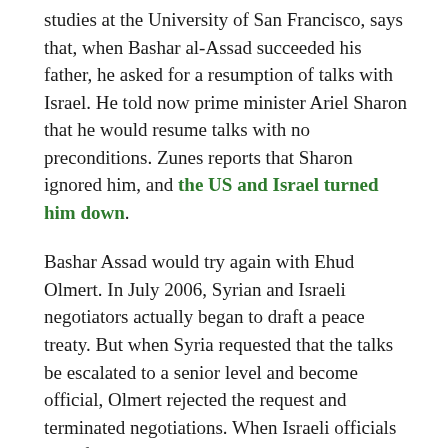studies at the University of San Francisco, says that, when Bashar al-Assad succeeded his father, he asked for a resumption of talks with Israel. He told now prime minister Ariel Sharon that he would resume talks with no preconditions. Zunes reports that Sharon ignored him, and the US and Israel turned him down.
Bashar Assad would try again with Ehud Olmert. In July 2006, Syrian and Israeli negotiators actually began to draft a peace treaty. But when Syria requested that the talks be escalated to a senior level and become official, Olmert rejected the request and terminated negotiations. When Israeli officials later felt out the US about resuming exploratory talks with Syria, according to Haaretz, Secretary of State Condoleezza Rice sent out the US answer to the possibility of friendship with Syria: “Don’t even think about it.”
Seymour Hersh reports that Assad continued talks with the US into the Obama administration. Zunes said in a personal correspondence that the blame for the failure of those talks